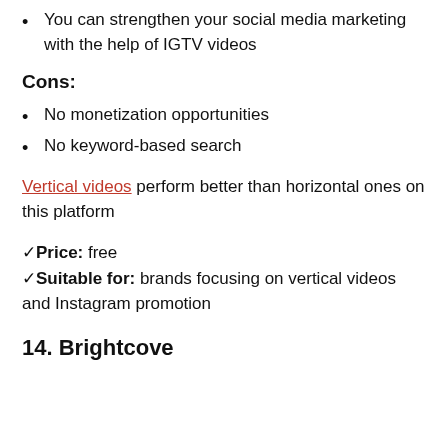You can strengthen your social media marketing with the help of IGTV videos
Cons:
No monetization opportunities
No keyword-based search
Vertical videos perform better than horizontal ones on this platform
✓Price: free
✓Suitable for: brands focusing on vertical videos and Instagram promotion
14. Brightcove